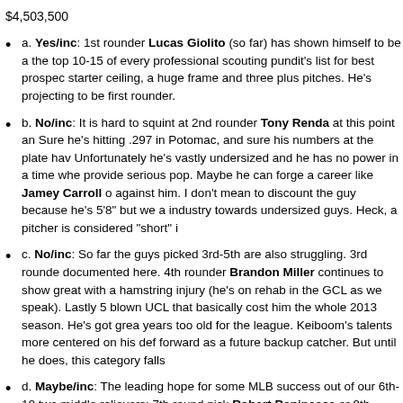$4,503,500
a. Yes/inc: 1st rounder Lucas Giolito (so far) has shown himself to be at the top 10-15 of every professional scouting pundit’s list for best prospect starter ceiling, a huge frame and three plus pitches. He's projecting to be first rounder.
b. No/inc: It is hard to squint at 2nd rounder Tony Renda at this point and Sure he's hitting .297 in Potomac, and sure his numbers at the plate have Unfortunately he's vastly undersized and he has no power in a time whe provide serious pop. Maybe he can forge a career like Jamey Carroll o against him. I don't mean to discount the guy because he's 5’8” but we a industry towards undersized guys. Heck, a pitcher is considered “short” i
c. No/inc: So far the guys picked 3rd-5th are also struggling. 3rd rounde documented here. 4th rounder Brandon Miller continues to show great with a hamstring injury (he's on rehab in the GCL as we speak). Lastly 5 blown UCL that basically cost him the whole 2013 season. He's got grea years too old for the league. Keiboom's talents more centered on his def forward as a future backup catcher. But until he does, this category falls
d. Maybe/inc: The leading hope for some MLB success out of our 6th-10 two middle relievers: 7th round pick Robert Benincasa or 9th round pick these guys could turn into the next Aaron Barrett. 8th round SS Stephe Potomac and could feature as a future utility infielder. The team has alre Jennings, and their 10th rounder (local Rockville product Craig Manual) backing up other catchers in the system for the time being). He may con